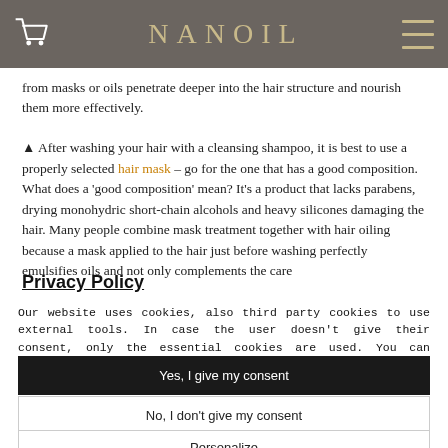NANOIL
from masks or oils penetrate deeper into the hair structure and nourish them more effectively.
▲ After washing your hair with a cleansing shampoo, it is best to use a properly selected hair mask – go for the one that has a good composition. What does a 'good composition' mean? It's a product that lacks parabens, drying monohydric short-chain alcohols and heavy silicones damaging the hair. Many people combine mask treatment together with hair oiling because a mask applied to the hair just before washing perfectly emulsifies oils and not only complements the care
Privacy Policy
Our website uses cookies, also third party cookies to use external tools. In case the user doesn't give their consent, only the essential cookies are used. You can change the settings in your browser at any time. Do you give your consent to use all cookies?
Yes, I give my consent
No, I don't give my consent
Personalize